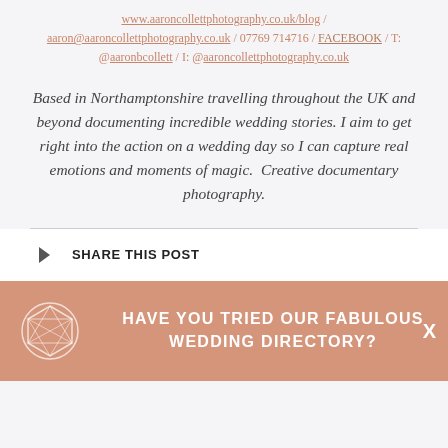www.aaroncollettphotography.co.uk/blog / aaron@aaroncollettphotography.co.uk / 07769 714716 / FACEBOOK / T: @aaronbcollett / I: @aaroncollettphotography.co.uk
Based in Northamptonshire travelling throughout the UK and beyond documenting incredible wedding stories. I aim to get right into the action on a wedding day so I can capture real emotions and moments of magic.  Creative documentary photography.
SHARE THIS POST
HAVE YOU TRIED OUR FABULOUS WEDDING DIRECTORY?